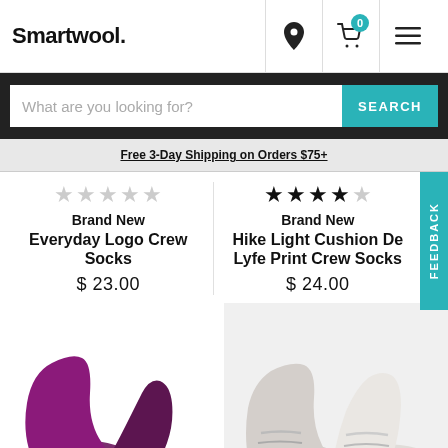Smartwool.
What are you looking for? SEARCH
Free 3-Day Shipping on Orders $75+
Brand New
Everyday Logo Crew Socks
$23.00
Brand New
Hike Light Cushion De Lyfe Print Crew Socks
$24.00
[Figure (photo): Purple/magenta low-cut socks product photo]
[Figure (photo): Gray ankle socks product photo]